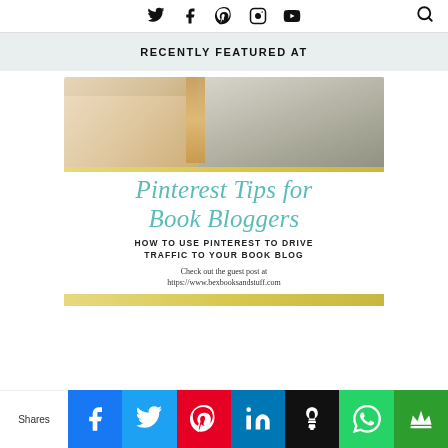Social media navigation icons: Twitter, Facebook, Pinterest, Instagram, YouTube, Search
RECENTLY FEATURED AT
[Figure (illustration): Photo of a laptop keyboard with a hand and a book/notebook, with a golden bar at the bottom]
[Figure (illustration): Decorative card image with cursive teal text: Pinterest Tips for Book Bloggers, followed by subtitle HOW TO USE PINTEREST TO DRIVE TRAFFIC TO YOUR BOOK BLOG, and text: Check out the guest post at https://www.bexbooksandstuff.com]
Check out the guest post at https://www.bexbooksandstuff.com
Shares | Facebook | Twitter | Pinterest | LinkedIn | Buffer/Hootsuite | WhatsApp | Crown